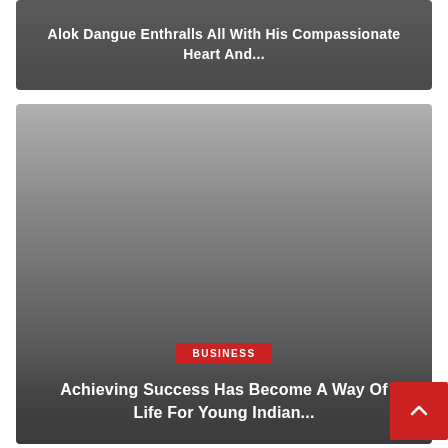Alok Dangue Enthralls All With His Compassionate Heart And...
[Figure (photo): Dark gradient image card for a business article]
BUSINESS
Achieving Success Has Become A Way Of Life For Young Indian...
[Figure (photo): Light grey partial image card at bottom]